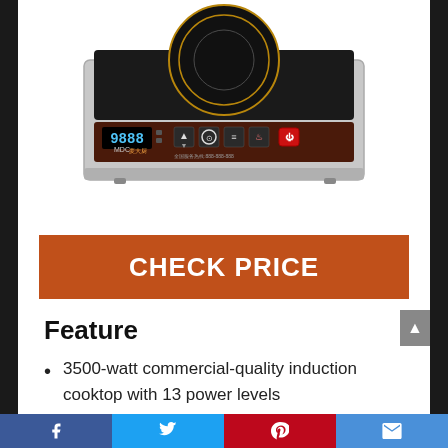[Figure (photo): Commercial induction cooktop (MDC brand) with stainless steel body, black glass cooking surface, digital display panel showing 9888, and control buttons including timer and power controls.]
CHECK PRICE
Feature
3500-watt commercial-quality induction cooktop with 13 power levels
Push-button controls and digital